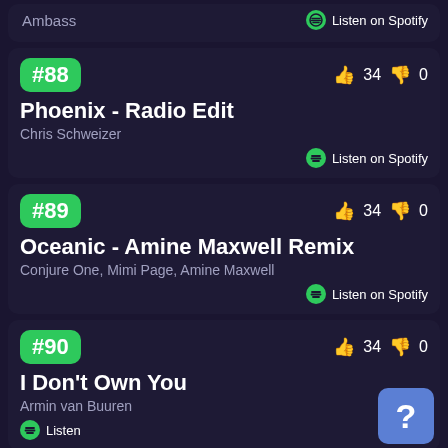Ambass
Listen on Spotify
#88 | 34 likes, 0 dislikes | Phoenix - Radio Edit | Chris Schweizer | Listen on Spotify
#89 | 34 likes, 0 dislikes | Oceanic - Amine Maxwell Remix | Conjure One, Mimi Page, Amine Maxwell | Listen on Spotify
#90 | 34 likes, 0 dislikes | I Don't Own You | Armin van Buuren | Listen